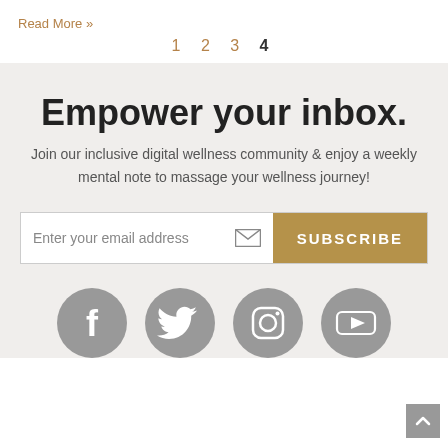Read More »
1 2 3 4
Empower your inbox.
Join our inclusive digital wellness community & enjoy a weekly mental note to massage your wellness journey!
[Figure (screenshot): Email subscription form with text field 'Enter your email address' and envelope icon, and a tan/gold 'SUBSCRIBE' button]
[Figure (infographic): Row of grey circular social media icons: Facebook, Twitter, Instagram, YouTube]